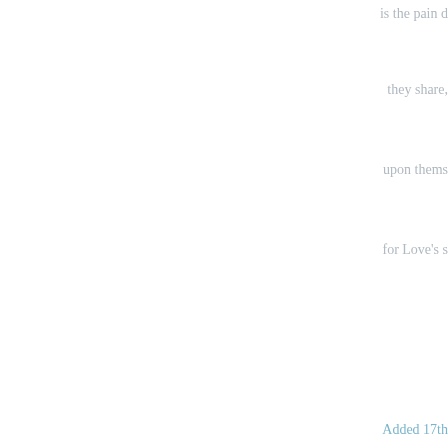is the pain d
they share,
upon thems
for Love's s
Added 17th
17th March
This weeke
Michaelhou
This evenin
College cha
Passion thr
paintings fr
be hung in t
The three e
31st March